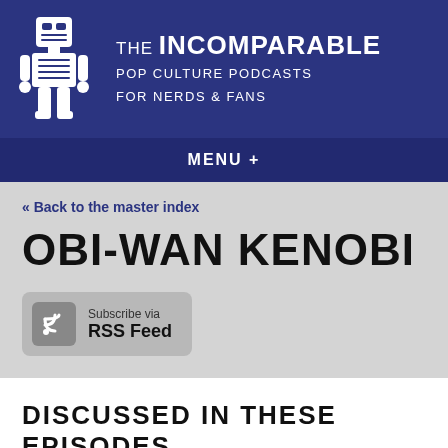THE INCOMPARABLE
POP CULTURE PODCASTS FOR NERDS & FANS
MENU +
« Back to the master index
OBI-WAN KENOBI
[Figure (other): Subscribe via RSS Feed button with RSS icon]
DISCUSSED IN THESE EPISODES